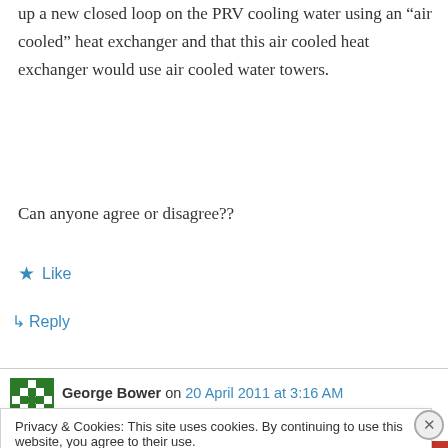up a new closed loop on the PRV cooling water using an “air cooled” heat exchanger and that this air cooled heat exchanger would use air cooled water towers.
Can anyone agree or disagree??
★ Like
↵ Reply
George Bower on 20 April 2011 at 3:16 AM
Privacy & Cookies: This site uses cookies. By continuing to use this website, you agree to their use.
To find out more, including how to control cookies, see here: Cookie Policy
Close and accept